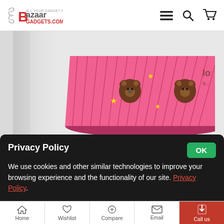Bazaar Gadgets - BazaarGadgets.com
[Figure (photo): Pink cupcake/muffin liner with cute bear print design, close-up shot on white background]
100Pcs Cute Bear Paper Liner Muffin Cupcake Cup ...
100 SEK
1 [quantity selector] [Add to cart button] [Wishlist heart icon]
Privacy Policy
We use cookies and other similar technologies to improve your browsing experience and the functionality of our site. Privacy Policy.
Home | Wishlist | Compare | Email | Call us